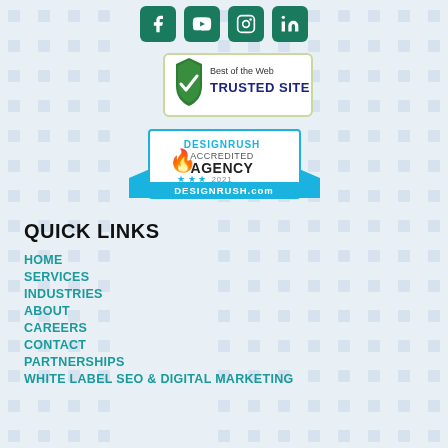[Figure (illustration): Social media icons row: Facebook, YouTube, Instagram, LinkedIn — green rounded square buttons]
[Figure (logo): Best of the Web Trusted Site badge — green shield with checkmark, text 'Best of the Web TRUSTED SITE']
[Figure (logo): DesignRush Accredited Agency 2021 badge — blue banner with flame logo, text 'DESIGNRUSH ACCREDITED AGENCY 2021 DESIGNRUSH.com']
QUICK LINKS
HOME
SERVICES
INDUSTRIES
ABOUT
CAREERS
CONTACT
PARTNERSHIPS
WHITE LABEL SEO & DIGITAL MARKETING